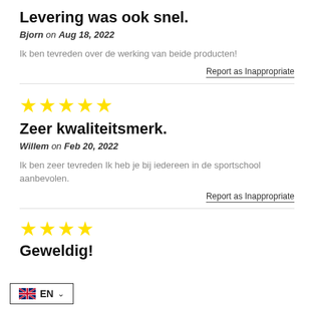Levering was ook snel.
Bjorn on Aug 18, 2022
Ik ben tevreden over de werking van beide producten!
Report as Inappropriate
[Figure (other): 5 yellow stars rating]
Zeer kwaliteitsmerk.
Willem on Feb 20, 2022
Ik ben zeer tevreden Ik heb je bij iedereen in de sportschool aanbevolen.
Report as Inappropriate
[Figure (other): 4 yellow stars rating]
Geweldig!
[Figure (other): EN language selector with UK flag]